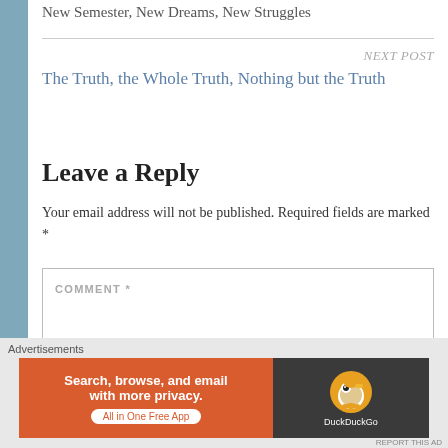New Semester, New Dreams, New Struggles
NEXT POST
The Truth, the Whole Truth, Nothing but the Truth
Leave a Reply
Your email address will not be published. Required fields are marked *
COMMENT *
Advertisements
[Figure (other): DuckDuckGo advertisement banner: orange section with text 'Search, browse, and email with more privacy.' and 'All in One Free App' button; dark section with DuckDuckGo duck logo]